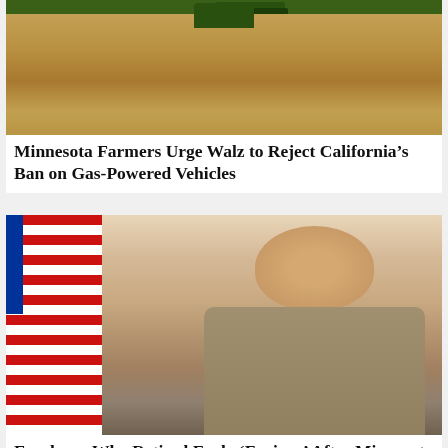[Figure (photo): A tractor or farm equipment on a dirt field, aerial or field-level view with soil visible]
Minnesota Farmers Urge Walz to Reject California's Ban on Gas-Powered Vehicles
[Figure (photo): A smiling bald man in a tan law enforcement uniform, standing in front of an American flag]
Employee Who Retired Early 'Furious' After Minnesota County Scraps Vax Mandate